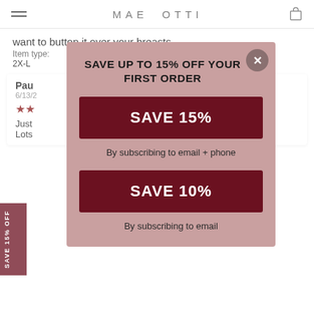MAE OTTI
want to button it over your breasts.
Item type:
2XL
Pau
6/13/2
★★
Just
Lots
[Figure (screenshot): Modal popup overlay on an e-commerce product page for Mae Otti brand. The modal has a pinkish-mauve background with a close button (X). It shows 'SAVE UP TO 15% OFF YOUR FIRST ORDER' as the title, then two dark red buttons: 'SAVE 15%' with text 'By subscribing to email + phone', and 'SAVE 10%' with text 'By subscribing to email'. A 'SAVE 15% OFF' vertical side tab is visible on the left edge.]